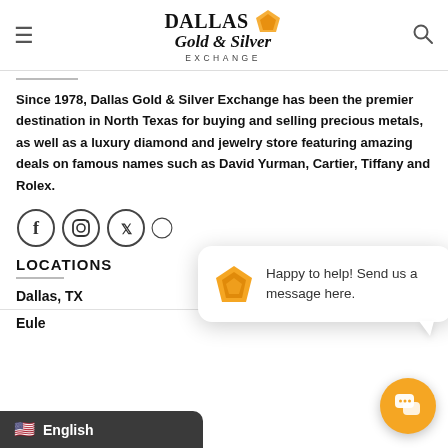Dallas Gold & Silver Exchange
Since 1978, Dallas Gold & Silver Exchange has been the premier destination in North Texas for buying and selling precious metals, as well as a luxury diamond and jewelry store featuring amazing deals on famous names such as David Yurman, Cartier, Tiffany and Rolex.
[Figure (infographic): Social media icons: Facebook, Instagram, Twitter, and partially visible fourth icon]
[Figure (infographic): Chat bubble widget with Dallas Gold & Silver logo saying 'Happy to help! Send us a message here.' with orange chat button in bottom right]
LOCATIONS
Dallas, TX
Eule...
[Figure (infographic): Language selector showing US flag and 'English' text on dark background]